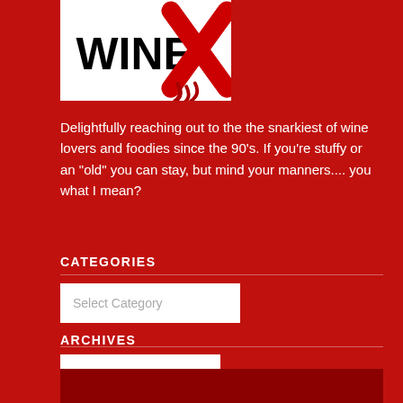[Figure (logo): WineX logo with red X mark on white background]
Delightfully reaching out to the the snarkiest of wine lovers and foodies since the 90’s.  If you’re stuffy or an “old” you can stay, but mind your manners.... you what I mean?
CATEGORIES
Select Category
ARCHIVES
Select Month